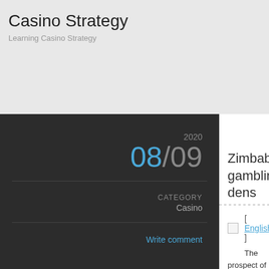Casino Strategy
Learning Casino Strategy
2020
08/09
CATEGORY
Casino
Write comment
Zimbabwe gambling dens
[ English ]
The prospect of living in Zimbabwe is something may imagine that there would be very little appetite fo Actually, it seems to be working the other way around leading to a higher desire to wager, to try and locate a
For most of the people living on the abysmal local mo gaming, the state lotto and Zimbet. As with most even lotto where the chances of succeeding are surprising unbelievably big. It's been said by market analysts wh